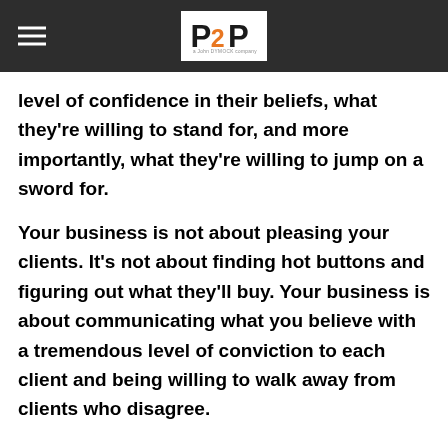P2P logo with hamburger menu
level of confidence in their beliefs, what they're willing to stand for, and more importantly, what they're willing to jump on a sword for.

Your business is not about pleasing your clients. It's not about finding hot buttons and figuring out what they'll buy. Your business is about communicating what you believe with a tremendous level of conviction to each client and being willing to walk away from clients who disagree.